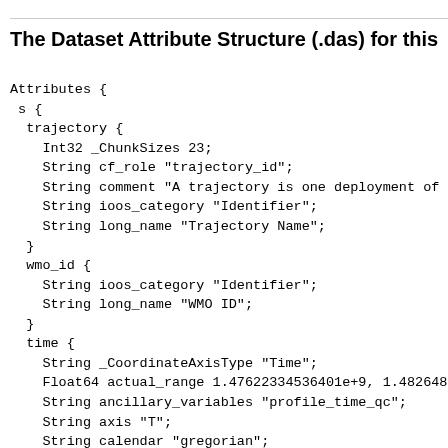The Dataset Attribute Structure (.das) for this
Attributes {
 s {
  trajectory {
    Int32 _ChunkSizes 23;
    String cf_role "trajectory_id";
    String comment "A trajectory is one deployment of
    String ioos_category "Identifier";
    String long_name "Trajectory Name";
  }
  wmo_id {
    String ioos_category "Identifier";
    String long_name "WMO ID";
  }
  time {
    String _CoordinateAxisType "Time";
    Float64 actual_range 1.47622334536401e+9, 1.482648
    String ancillary_variables "profile_time_qc";
    String axis "T";
    String calendar "gregorian";
    String comment "Timestamp corresponding to the mid
 profile ";